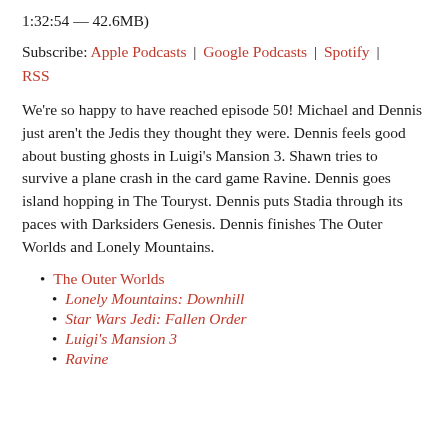1:32:54 — 42.6MB)
Subscribe: Apple Podcasts | Google Podcasts | Spotify | RSS
We're so happy to have reached episode 50! Michael and Dennis just aren't the Jedis they thought they were. Dennis feels good about busting ghosts in Luigi's Mansion 3. Shawn tries to survive a plane crash in the card game Ravine. Dennis goes island hopping in The Touryst. Dennis puts Stadia through its paces with Darksiders Genesis. Dennis finishes The Outer Worlds and Lonely Mountains.
The Outer Worlds
Lonely Mountains: Downhill
Star Wars Jedi: Fallen Order
Luigi's Mansion 3
Ravine